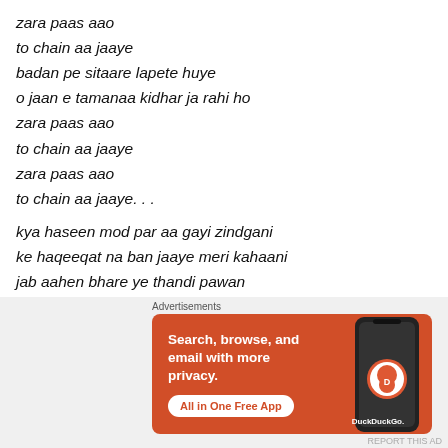zara paas aao
to chain aa jaaye
badan pe sitaare lapete huye
o jaan e tamanaa kidhar ja rahi ho
zara paas aao
to chain aa jaaye
zara paas aao
to chain aa jaaye. . .

kya haseen mod par aa gayi zindgani
ke haqeeqat na ban jaaye meri kahaani
jab aahen bhare ye thandi pawan
[Figure (other): DuckDuckGo advertisement banner: orange background with text 'Search, browse, and email with more privacy. All in One Free App' and a phone graphic with DuckDuckGo logo]